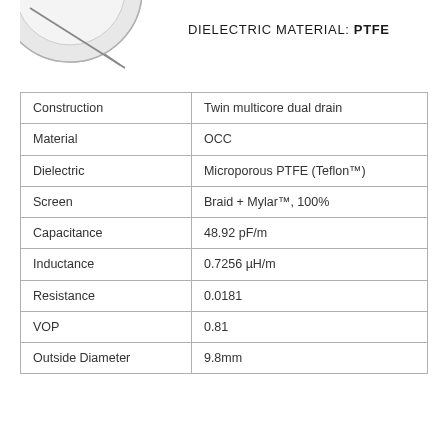[Figure (schematic): Partial cross-section diagram of a cable showing circular layered construction, partially visible in top-left corner]
DIELECTRIC MATERIAL: PTFE
| Property | Value |
| --- | --- |
| Construction | Twin multicore dual drain |
| Material | OCC |
| Dielectric | Microporous PTFE (Teflon™) |
| Screen | Braid + Mylar™, 100% |
| Capacitance | 48.92 pF/m |
| Inductance | 0.7256 µH/m |
| Resistance | 0.0181 |
| VOP | 0.81 |
| Outside Diameter | 9.8mm |